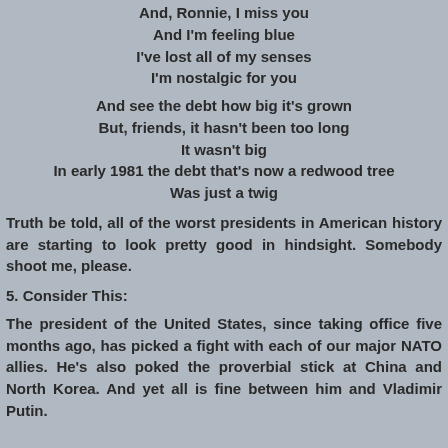And, Ronnie, I miss you
And I'm feeling blue
I've lost all of my senses
I'm nostalgic for you
And see the debt how big it's grown
But, friends, it hasn't been too long
It wasn't big
In early 1981 the debt that's now a redwood tree
Was just a twig
Truth be told, all of the worst presidents in American history are starting to look pretty good in hindsight. Somebody shoot me, please.
5. Consider This:
The president of the United States, since taking office five months ago, has picked a fight with each of our major NATO allies. He's also poked the proverbial stick at China and North Korea. And yet all is fine between him and Vladimir Putin.